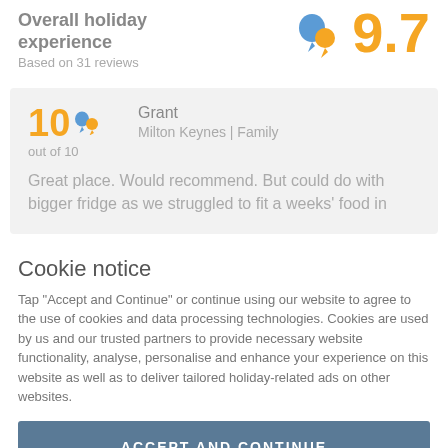Overall holiday experience
Based on 31 reviews
[Figure (infographic): Quote/speech bubble icon (blue and orange) next to large orange score 9.7]
10 out of 10
Grant
Milton Keynes | Family
Great place. Would recommend. But could do with bigger fridge as we struggled to fit a weeks' food in
Cookie notice
Tap "Accept and Continue" or continue using our website to agree to the use of cookies and data processing technologies. Cookies are used by us and our trusted partners to provide necessary website functionality, analyse, personalise and enhance your experience on this website as well as to deliver tailored holiday-related ads on other websites.
ACCEPT AND CONTINUE